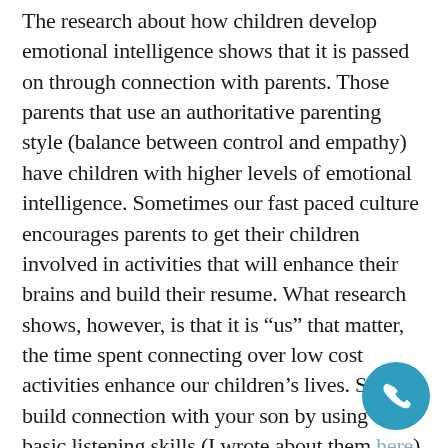The research about how children develop emotional intelligence shows that it is passed on through connection with parents. Those parents that use an authoritative parenting style (balance between control and empathy) have children with higher levels of emotional intelligence. Sometimes our fast paced culture encourages parents to get their children involved in activities that will enhance their brains and build their resume. What research shows, however, is that it is “us” that matter, the time spent connecting over low cost activities enhance our children’s lives. So, build connection with your son by using the basic listening skills (I wrote about them here). Play their favorite board game one evening a week. Schedule them to cook dinner for the family one night and help them through the process. Spend a few minutes talking about the day before shutting off their bedroom light for the night.
[Figure (other): Circular blue phone/call button in bottom-right corner]